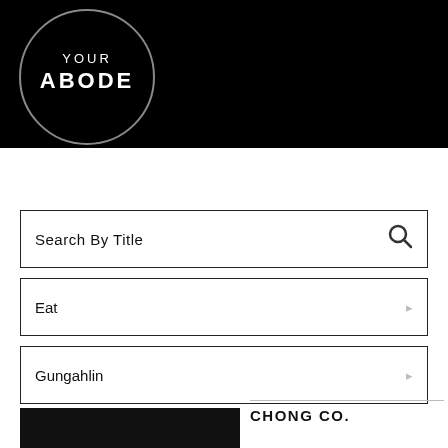[Figure (logo): Your Abode logo: black circle with thin border, text 'YOUR' above 'ABODE' in bold white capitals]
Search By Title
Eat
Gungahlin
[Figure (photo): Partial black thumbnail image of a restaurant or business]
CHONG CO.